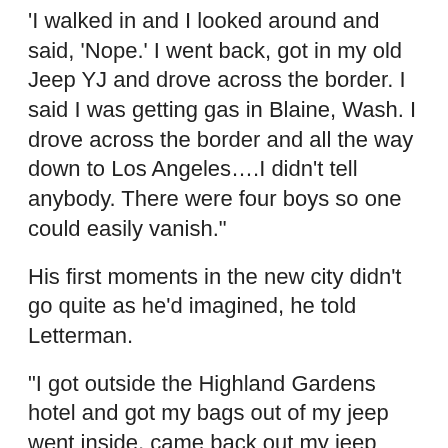'I walked in and I looked around and said, 'Nope.' I went back, got in my old Jeep YJ and drove across the border. I said I was getting gas in Blaine, Wash. I drove across the border and all the way down to Los Angeles….I didn't tell anybody. There were four boys so one could easily vanish."
His first moments in the new city didn't go quite as he'd imagined, he told Letterman.
"I got outside the Highland Gardens hotel and got my bags out of my jeep went inside, came back out my jeep was gone – already. Like Welcome to Los Angeles. I found it two blocks away. They stole my doors."
Ultimately he got an agent and was cast in a